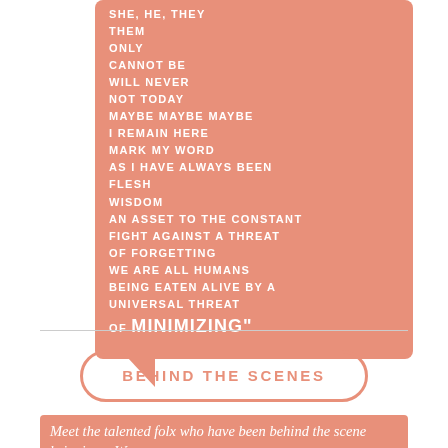SHE, HE, THEY
THEM
ONLY
CANNOT BE
WILL NEVER
NOT TODAY
MAYBE MAYBE MAYBE
I REMAIN HERE
MARK MY WORD
AS I HAVE ALWAYS BEEN
FLESH
WISDOM
AN ASSET TO THE CONSTANT
FIGHT AGAINST A THREAT
OF FORGETTING
WE ARE ALL HUMANS
BEING EATEN ALIVE BY A
UNIVERSAL THREAT
of MINIMIZING"
BEHIND THE SCENES
Meet the talented folx who have been behind the scenes bringing...